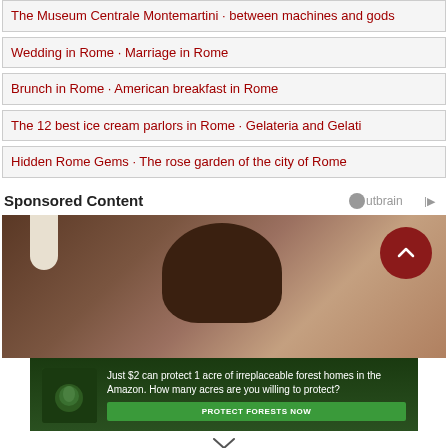The Museum Centrale Montemartini · between machines and gods
Wedding in Rome · Marriage in Rome
Brunch in Rome · American breakfast in Rome
The 12 best ice cream parlors in Rome · Gelateria and Gelati
Hidden Rome Gems · The rose garden of the city of Rome
Sponsored Content
[Figure (screenshot): Outbrain sponsored content logo]
[Figure (photo): Back of a woman's head with dark hair, indoor background with lamp. Scroll-up button (dark red circle with chevron) overlaid top right.]
[Figure (infographic): Amazon forest conservation ad: 'Just $2 can protect 1 acre of irreplaceable forest homes in the Amazon. How many acres are you willing to protect?' with green PROTECT FORESTS NOW button.]